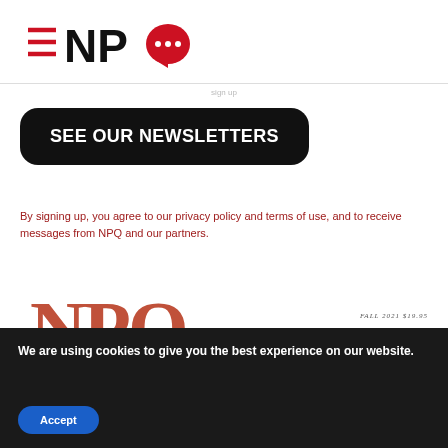[Figure (logo): NPQ logo with hamburger menu icon on left, red speech bubble with dots on right, black bold text NPQ]
[Figure (illustration): Partial gray text near divider line, truncated page content]
SEE OUR NEWSLETTERS
By signing up, you agree to our privacy policy and terms of use, and to receive messages from NPQ and our partners.
[Figure (illustration): NPQ magazine cover partial view showing large red serif NPQ letters, with FALL 2021 $19.95 label]
We are using cookies to give you the best experience on our website.
Accept